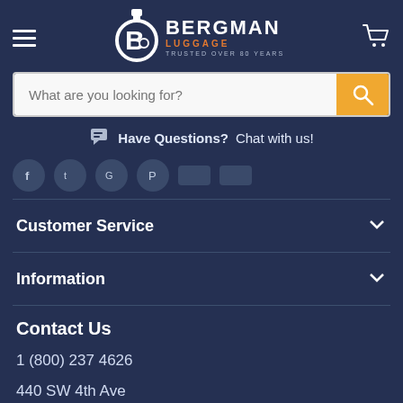[Figure (logo): Bergman Luggage logo with stylized B icon, brand name BERGMAN LUGGAGE, tagline TRUSTED OVER 80 YEARS]
What are you looking for?
Have Questions?  Chat with us!
[Figure (illustration): Social media icons row: Facebook, Twitter, Google, Pinterest, and two more]
Customer Service
Information
Contact Us
1 (800) 237 4626
440 SW 4th Ave